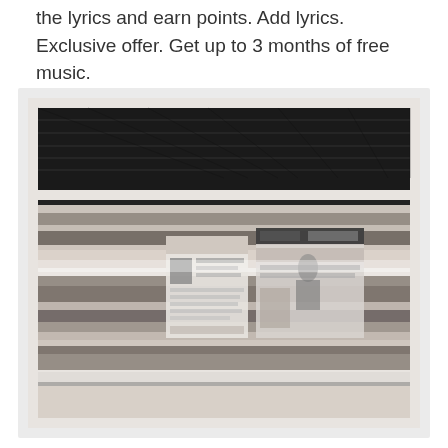the lyrics and earn points. Add lyrics. Exclusive offer. Get up to 3 months of free music.
[Figure (photo): Black and white motion-blurred photograph of a subway/metro train passing through a station, showing advertising posters on the train car side, with ceiling structure visible at top. Strong horizontal motion blur effect.]